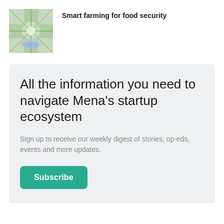[Figure (photo): Thumbnail photo of hydroponic plant growing in a clear container, viewed from above showing symmetric leaf pattern]
Smart farming for food security
All the information you need to navigate Mena's startup ecosystem
Sign up to receive our weekly digest of stories, op-eds, events and more updates.
Subscribe